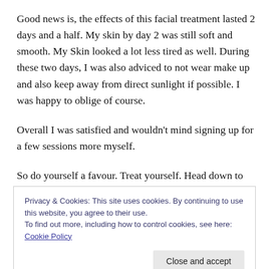Good news is, the effects of this facial treatment lasted 2 days and a half. My skin by day 2 was still soft and smooth. My Skin looked a lot less tired as well. During these two days, I was also adviced to not wear make up and also keep away from direct sunlight if possible. I was happy to oblige of course.
Overall I was satisfied and wouldn't mind signing up for a few sessions more myself.
So do yourself a favour. Treat yourself. Head down to
Privacy & Cookies: This site uses cookies. By continuing to use this website, you agree to their use.
To find out more, including how to control cookies, see here: Cookie Policy